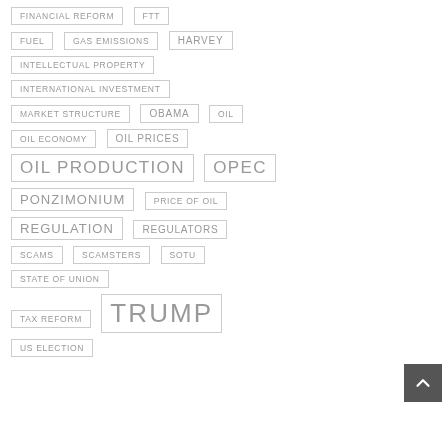FINANCIAL REFORM
FTT
FUEL
GAS EMISSIONS
HARVEY
INTELLECTUAL PROPERTY
INTERNATIONAL INVESTMENT
MARKET STRUCTURE
OBAMA
OIL
OIL ECONOMY
OIL PRICES
OIL PRODUCTION
OPEC
PONZIMONIUM
PRICE OF OIL
REGULATION
REGULATORS
SCAMS
SCAMSTERS
SOTU
STATE OF UNION
TAX REFORM
TRUMP
US ELECTION